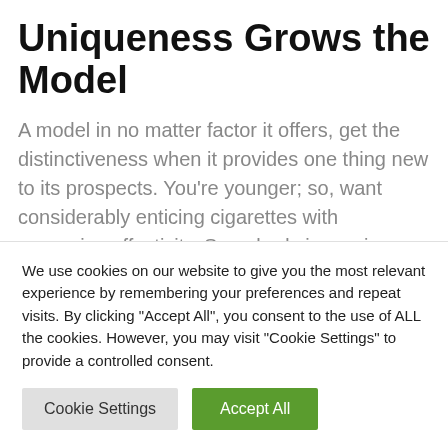Uniqueness Grows the Model
A model in no matter factor it offers, get the distinctiveness when it provides one thing new to its prospects. You're younger; so, want considerably enticing cigarettes with excessive effectivity. Somebody is previous and wishes a relatively much less lively impact reasonably the style you get whenever you do smoke. So, Each phrase talked about on the field counts in its uniqueness and genuinely. If you give a
We use cookies on our website to give you the most relevant experience by remembering your preferences and repeat visits. By clicking "Accept All", you consent to the use of ALL the cookies. However, you may visit "Cookie Settings" to provide a controlled consent.
Cookie Settings | Accept All